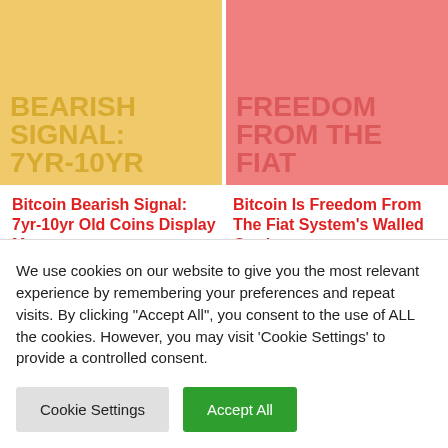[Figure (screenshot): Two article thumbnail images in top row: left is yellow background with text 'BEARISH SIGNAL: 7YR-10YR', right is pink/salmon background with text 'FREEDOM FROM THE FIAT']
Bitcoin Bearish Signal: 7yr-10yr Old Coins Display Movement
Bitcoin Is Freedom From The Fiat System's Walled Garden
[Figure (screenshot): Two article thumbnail images in bottom row: left is green background with text 'THE PATH IS CLEAR: BIT', right is teal background with text 'BITCOIN WILL LEAD']
We use cookies on our website to give you the most relevant experience by remembering your preferences and repeat visits. By clicking "Accept All", you consent to the use of ALL the cookies. However, you may visit 'Cookie Settings' to provide a controlled consent.